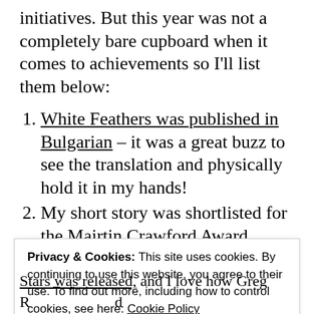initiatives. But this year was not a completely bare cupboard when it comes to achievements so I'll list them below:
White Feathers was published in Bulgarian – it was a great buzz to see the translation and physically hold it in my hands!
My short story was shortlisted for the Mairtin Crawford Award, much to my delight, but I was gutted it didn't make the
Privacy & Cookies: This site uses cookies. By continuing to use this website, you agree to their use. To find out more, including how to control cookies, see here: Cookie Policy
Close and accept
Stars was released, and I love how Greg R...